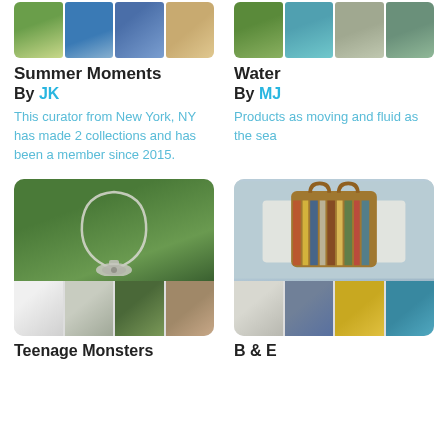[Figure (photo): Image strip of Summer Moments collection showing cocktail/beach/person/sand photos]
Summer Moments
By JK
This curator from New York, NY has made 2 collections and has been a member since 2015.
[Figure (photo): Image strip of Water collection showing green plants, teal scarf, sheep, green items]
Water
By MJ
Products as moving and fluid as the sea
[Figure (photo): Teenage Monsters collection card showing silver necklace with pendant on green background and jewelry thumbnails]
Teenage Monsters
[Figure (photo): B & E collection card showing striped bag on white furniture with accessory thumbnails]
B & E